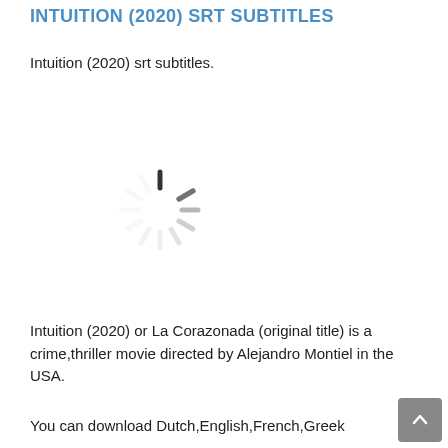INTUITION (2020) SRT SUBTITLES
Intuition (2020) srt subtitles.
[Figure (other): Loading spinner / activity indicator icon — a circular arrangement of dark radial lines on white background]
Intuition (2020) or La Corazonada (original title) is a crime,thriller movie directed by Alejandro Montiel in the USA.
You can download Dutch,English,French,Greek